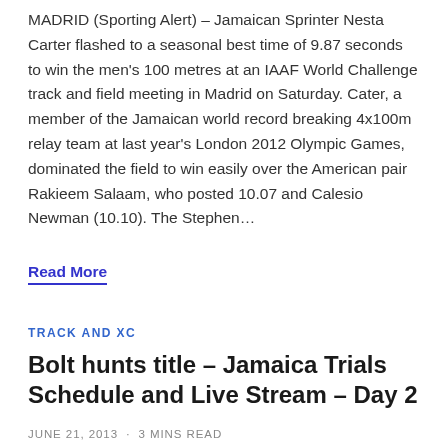MADRID (Sporting Alert) – Jamaican Sprinter Nesta Carter flashed to a seasonal best time of 9.87 seconds to win the men's 100 metres at an IAAF World Challenge track and field meeting in Madrid on Saturday. Cater, a member of the Jamaican world record breaking 4x100m relay team at last year's London 2012 Olympic Games, dominated the field to win easily over the American pair Rakieem Salaam, who posted 10.07 and Calesio Newman (10.10). The Stephen…
Read More
TRACK AND XC
Bolt hunts title – Jamaica Trials Schedule and Live Stream – Day 2
JUNE 21, 2013 · 3 MINS READ
KINGSTON, Jamaica (Sporting Alert) – Day two action of the